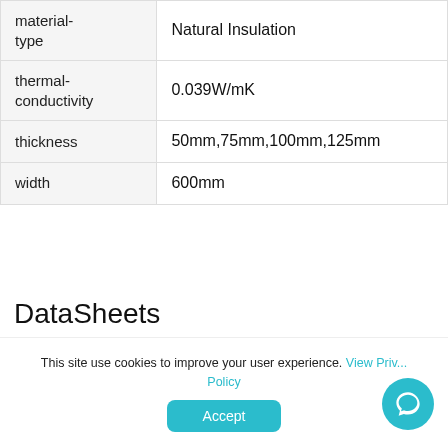| material-type | Natural Insulation |
| thermal-conductivity | 0.039W/mK |
| thickness | 50mm,75mm,100mm,125mm |
| width | 600mm |
DataSheets
This site use cookies to improve your user experience. View Privacy Policy